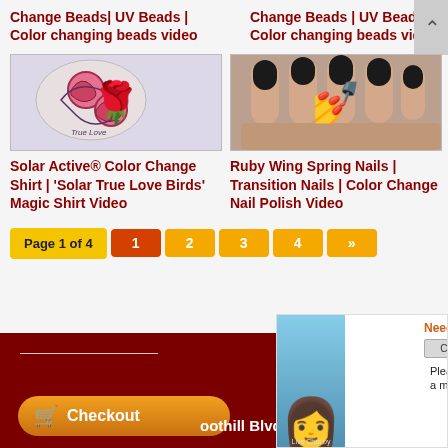Change Beads| UV Beads | Color changing beads video
Change Beads | UV Beads | Color changing beads video
[Figure (photo): Tattoo image showing roses and birds on a light blue background - Solar Active Color Change Shirt]
Solar Active® Color Change Shirt | 'Solar True Love Birds' Magic Shirt Video
[Figure (photo): Photo of hands with black nail polish - Ruby Wing Spring Nails]
Ruby Wing Spring Nails | Transition Nails | Color Change Nail Polish Video
Page 1 of 4  1  2  3  4  »
Need help? Click here Please leave a message
Checkout
oothill Blvd. #302 PASADENA
Live Chat by